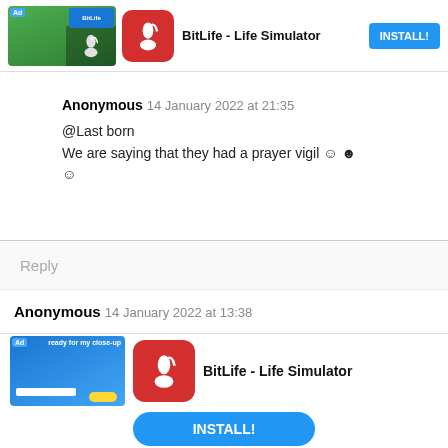[Figure (screenshot): BitLife - Life Simulator app advertisement banner at the top with app icon, name and INSTALL! button]
Anonymous 14 January 2022 at 21:35
@Last born
We are saying that they had a prayer vigil ☺ ☺ ☺
Reply
Anonymous 14 January 2022 at 13:38
[Figure (screenshot): BitLife - Life Simulator app advertisement banner at the bottom with INSTALL! button]